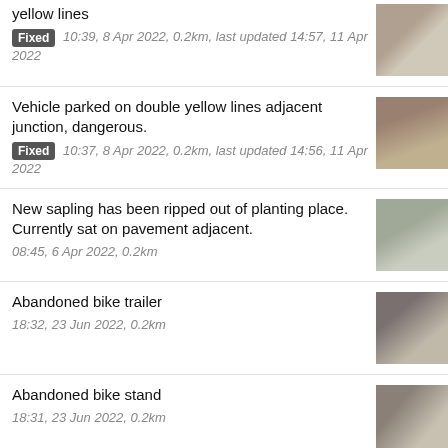yellow lines
Fixed 10:39, 8 Apr 2022, 0.2km, last updated 14:57, 11 Apr 2022
Vehicle parked on double yellow lines adjacent junction, dangerous.
Fixed 10:37, 8 Apr 2022, 0.2km, last updated 14:56, 11 Apr 2022
New sapling has been ripped out of planting place. Currently sat on pavement adjacent.
08:45, 6 Apr 2022, 0.2km
Abandoned bike trailer
18:32, 23 Jun 2022, 0.2km
Abandoned bike stand
18:31, 23 Jun 2022, 0.2km
Cars violating no entry sign
18:13, 13 May 2022, 0.2km